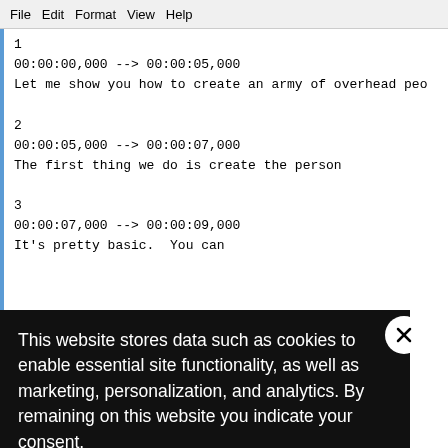File  Edit  Format  View  Help
1
00:00:00,000 --> 00:00:05,000
Let me show you how to create an army of overhead peo
2
00:00:05,000 --> 00:00:07,000
The first thing we do is create the person
3
00:00:07,000 --> 00:00:09,000
It's pretty basic. You can
a few shapes
ads with “The first t
line 3 is displayed
ng text. You can le
simple, so we'll fo
and how to get them. By the way, you can open .SRT files in notepad
This website stores data such as cookies to enable essential site functionality, as well as marketing, personalization, and analytics. By remaining on this website you indicate your consent.
Privacy Notice